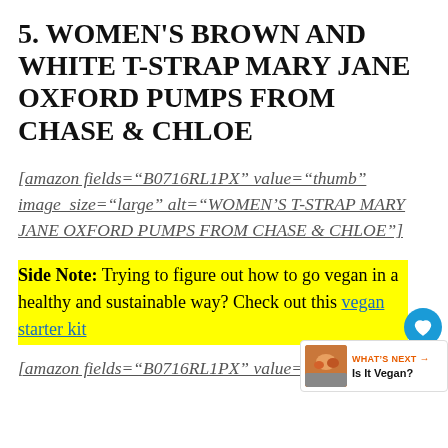5. WOMEN'S BROWN AND WHITE T-STRAP MARY JANE OXFORD PUMPS FROM CHASE & CHLOE
[amazon fields="B0716RL1PX" value="thumb" image_size="large" alt="WOMEN'S T-STRAP MARY JANE OXFORD PUMPS FROM CHASE & CHLOE"]
Side Note: Trying to figure out how to go vegan in a healthy and sustainable way? Check out this vegan starter kit
[amazon fields="B0716RL1PX" value="link"